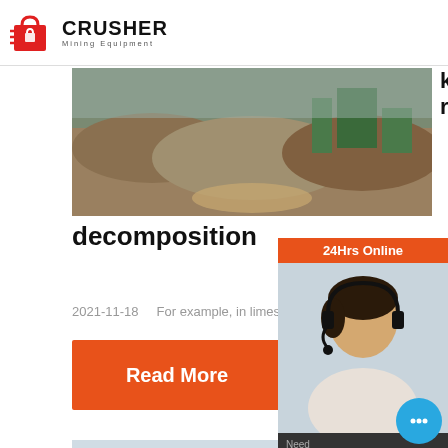CRUSHER Mining Equipment
[Figure (photo): Outdoor quarry/mining site with piled rock and machinery in background]
know how to reduce decomposition
2021-11-18    For example, in limestone calcina...
Read More
[Figure (photo): Mining conveyor belt equipment at quarry site]
Limestone Chemical Quiz –
[Figure (photo): Customer service representative - 24Hrs Online sidebar with chat widget]
24Hrs Online
Need & suggestions
Chat Now
Enquiry
limingjlmofen@sina.com